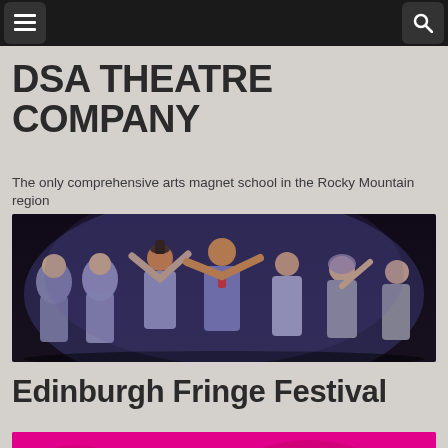Navigation bar with menu and search buttons
DSA THEATRE COMPANY
The only comprehensive arts magnet school in the Rocky Mountain region
[Figure (photo): Stage performance showing multiple students in grey/purple period costumes dancing and celebrating on a dark stage]
Edinburgh Fringe Festival
[Figure (photo): Edinburgh Fringe Festival logo/graphic in bright magenta/pink, partially visible at bottom of page]